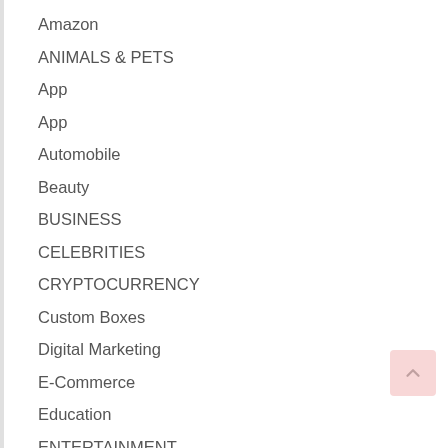Amazon
ANIMALS & PETS
App
App
Automobile
Beauty
BUSINESS
CELEBRITIES
CRYPTOCURRENCY
Custom Boxes
Digital Marketing
E-Commerce
Education
ENTERTAINMENT
FAMILY & RELATIONSHIPS
FASHION
Finance
FOOD